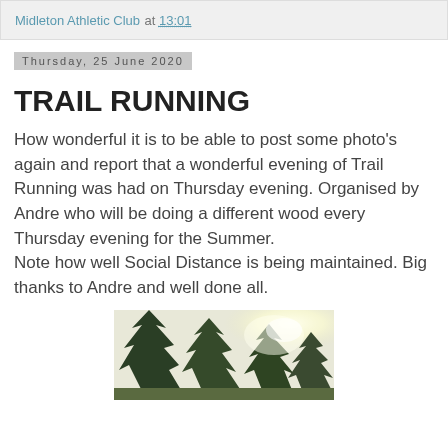Midleton Athletic Club at 13:01
Thursday, 25 June 2020
TRAIL RUNNING
How wonderful it is to be able to post some photo's again and report that a wonderful evening of Trail Running was had on Thursday evening. Organised by Andre who will be doing a different wood every Thursday evening for the Summer.
Note how well Social Distance is being maintained. Big thanks to Andre and well done all.
[Figure (photo): Outdoor forest/woodland scene with tall dark conifer trees, bright sunlight visible in background, trail running event setting]